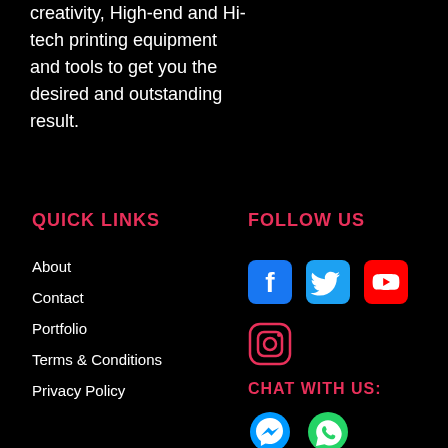creativity, High-end and Hi-tech printing equipment and tools to get you the desired and outstanding result.
QUICK LINKS
FOLLOW US
About
Contact
Portfolio
Terms & Conditions
Privacy Policy
[Figure (infographic): Social media icons row 1: Facebook (blue), Twitter (blue), YouTube (red)]
[Figure (infographic): Social media icon row 2: Instagram (pink outline)]
CHAT WITH US:
[Figure (infographic): Chat icons: Messenger (blue), WhatsApp (green)]